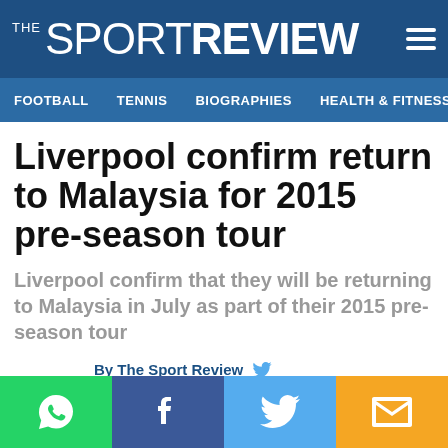THE SPORT REVIEW
FOOTBALL   TENNIS   BIOGRAPHIES   HEALTH & FITNESS   ALL
Liverpool confirm return to Malaysia for 2015 pre-season tour
Liverpool confirm that they will be returning to Malaysia in July as part of their 2015 pre-season tour
By The Sport Review
Wednesday 18 March 2015, 07:00 UK